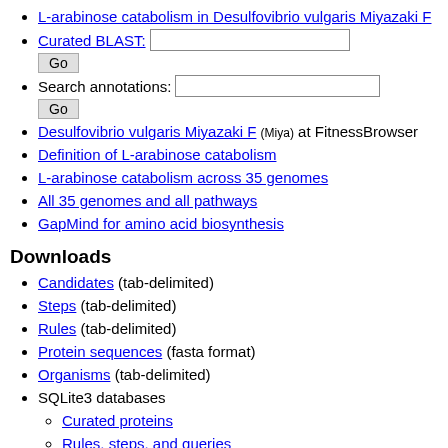L-arabinose catabolism in Desulfovibrio vulgaris Miyazaki F
Curated BLAST: [input field] Go
Search annotations: [input field] Go
Desulfovibrio vulgaris Miyazaki F (Miya) at FitnessBrowser
Definition of L-arabinose catabolism
L-arabinose catabolism across 35 genomes
All 35 genomes and all pathways
GapMind for amino acid biosynthesis
Downloads
Candidates (tab-delimited)
Steps (tab-delimited)
Rules (tab-delimited)
Protein sequences (fasta format)
Organisms (tab-delimited)
SQLite3 databases
Curated proteins
Rules, steps, and queries
Analysis results
Related tools